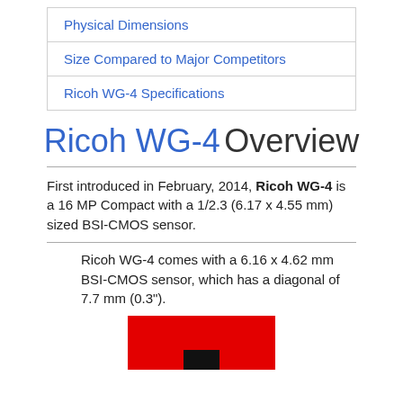Physical Dimensions
Size Compared to Major Competitors
Ricoh WG-4 Specifications
Ricoh WG-4 Overview
First introduced in February, 2014, Ricoh WG-4 is a 16 MP Compact with a 1/2.3 (6.17 x 4.55 mm) sized BSI-CMOS sensor.
Ricoh WG-4 comes with a 6.16 x 4.62 mm BSI-CMOS sensor, which has a diagonal of 7.7 mm (0.3").
[Figure (photo): Red rectangular camera sensor illustration with a black notch at the bottom center]